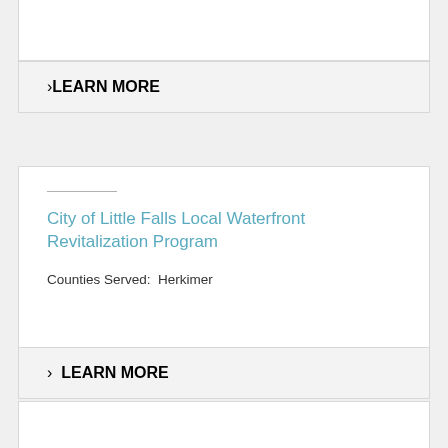LEARN MORE
City of Little Falls Local Waterfront Revitalization Program
Counties Served:  Herkimer
LEARN MORE